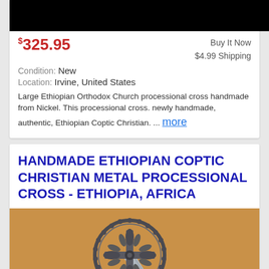[Figure (photo): Top portion of a product listing image — textile fabric with geometric diamond pattern in blue, grey, and red tones]
$325.95
Buy It Now
$4.99 Shipping
Condition: New
Location: Irvine, United States
Large Ethiopian Orthodox Church processional cross handmade from Nickel. This processional cross. newly handmade, authentic, Ethiopian Coptic Christian. ... more
HANDMADE ETHIOPIAN COPTIC CHRISTIAN METAL PROCESSIONAL CROSS - ETHIOPIA, AFRICA
[Figure (photo): Photo of a handmade Ethiopian Coptic Christian metal processional cross — ornate dark metal cross with circular decorative top with chain-like border, mounted on a silver metal pole/staff, photographed on a tan/golden suede background]